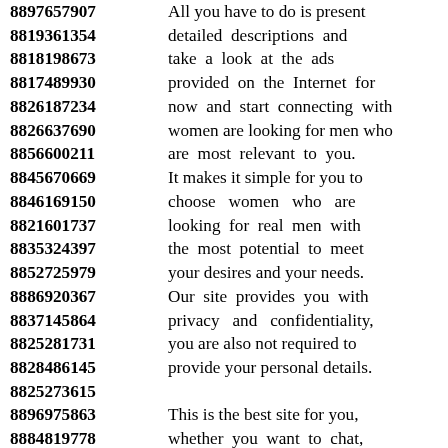8897657907  All you have to do is present
8819361354  detailed descriptions and
8818198673  take a look at the ads
8817489930  provided on the Internet for
8826187234  now and start connecting with
8826637690  women are looking for men who
8856600211  are most relevant to you.
8845670669  It makes it simple for you to
8846169150  choose women who are
8821601737  looking for real men with
8835324397  the most potential to meet
8852725979  your desires and your needs.
8886920367  Our site provides you with
8837145864  privacy and confidentiality,
8825281731  you are also not required to
8828486145  provide your personal details.
8825273615
8896975863  This is the best site for you,
8884819778  whether you want to chat,
8831794238  you can enjoy online dating
8836610981  or want to experience all
8864474539  kinds of activities with them,
8836490807  women seeking men online!
8870290973  Save time out of your busy
8812404293  schedule and connect with